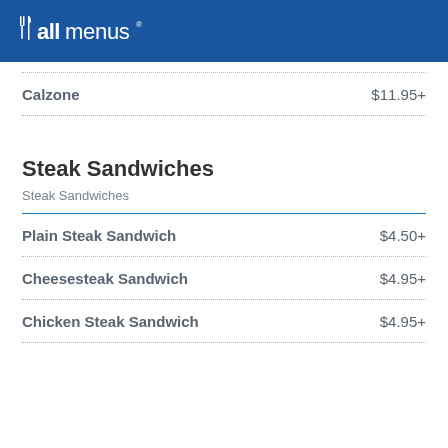allmenus
Calzone  $11.95+
Steak Sandwiches
Steak Sandwiches
Plain Steak Sandwich  $4.50+
Cheesesteak Sandwich  $4.95+
Chicken Steak Sandwich  $4.95+